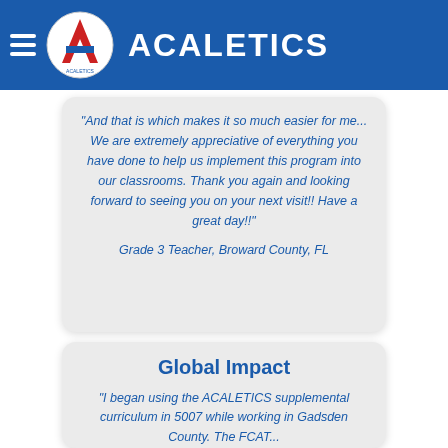ACALETICS
...And that is which makes it so much easier for me... We are extremely appreciative of everything you have done to help us implement this program into our classrooms. Thank you again and looking forward to seeing you on your next visit!! Have a great day!!"
Grade 3 Teacher, Broward County, FL
Global Impact
"I began using the ACALETICS supplemental curriculum in 5007 while working in Gadsden County. The FCAT results were amazing...